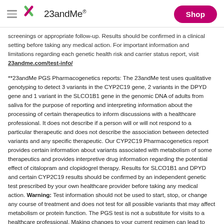23andMe
screenings or appropriate follow-up. Results should be confirmed in a clinical setting before taking any medical action. For important information and limitations regarding each genetic health risk and carrier status report, visit 23andme.com/test-info/
**23andMe PGS Pharmacogenetics reports: The 23andMe test uses qualitative genotyping to detect 3 variants in the CYP2C19 gene, 2 variants in the DPYD gene and 1 variant in the SLCO1B1 gene in the genomic DNA of adults from saliva for the purpose of reporting and interpreting information about the processing of certain therapeutics to inform discussions with a healthcare professional. It does not describe if a person will or will not respond to a particular therapeutic and does not describe the association between detected variants and any specific therapeutic. Our CYP2C19 Pharmacogenetics report provides certain information about variants associated with metabolism of some therapeutics and provides interpretive drug information regarding the potential effect of citalopram and clopidogrel therapy. Results for SLCO1B1 and DPYD and certain CYP2C19 results should be confirmed by an independent genetic test prescribed by your own healthcare provider before taking any medical action. Warning: Test information should not be used to start, stop, or change any course of treatment and does not test for all possible variants that may affect metabolism or protein function. The PGS test is not a substitute for visits to a healthcare professional. Making changes to your current regimen can lead to harmful side effects or reduced intended benefits of your medication,